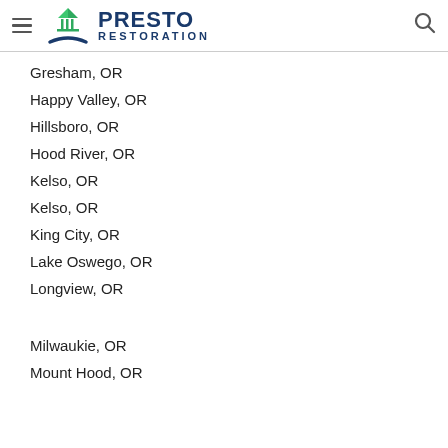Presto Restoration
Gresham, OR
Happy Valley, OR
Hillsboro, OR
Hood River, OR
Kelso, OR
Kelso, OR
King City, OR
Lake Oswego, OR
Longview, OR
Milwaukie, OR
Mount Hood, OR